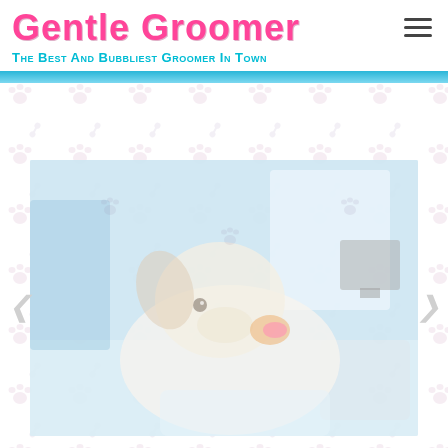Gentle Groomer
The Best And Bubbliest Groomer In Town
[Figure (photo): Photo of a dog being groomed in a grooming salon, with light blue walls and grooming equipment visible in the background. The image is faded/semi-transparent over a paw-and-bone tiled background.]
[Figure (illustration): Repeating tiled background pattern of light pink/grey paw prints and dog bones on white background.]